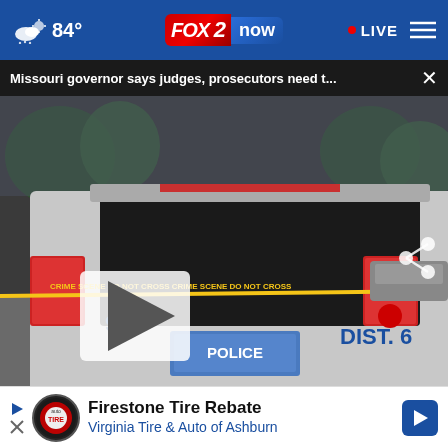84° FOX 2 now LIVE
Missouri governor says judges, prosecutors need t... ×
[Figure (photo): Police SUV labeled POLICE and DIST. 6 with number 954, with crime scene yellow tape visible in background. A play button overlay is visible on the left side. A share icon is in the top right corner.]
[Figure (photo): Close-up of elderly person's face, partially visible at the bottom of the screen.]
Firestone Tire Rebate
Virginia Tire & Auto of Ashburn